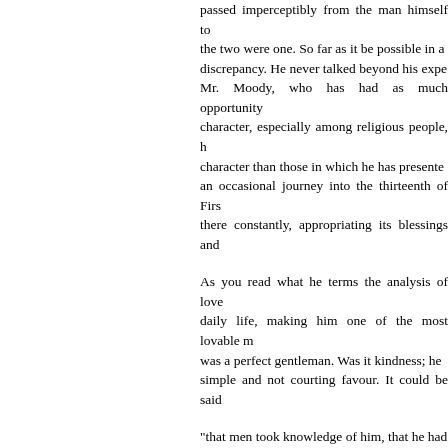passed imperceptibly from the man himself to the two were one. So far as it be possible in a discrepancy. He never talked beyond his expe Mr. Moody, who has had as much opportunity character, especially among religious people, h character than those in which he has presente an occasional journey into the thirteenth of Firs there constantly, appropriating its blessings and
As you read what he terms the analysis of love daily life, making him one of the most lovable m was a perfect gentleman. Was it kindness; he simple and not courting favour. It could be said
"that men took knowledge of him, that he had shown to those who were close friends. His fa and made him, like his Master, a favourite wi opinion, lived nearer the Master, or sought to de
And again: No man has ever been with me for unlike Christ, and I often see it in myself, but m was a Christlike man, and often a rebuke to Geikie. When he became the first Professor ot They travelled together in Great Britain, and o later years they met at intervals.
Sir Archibald had therefore every opportunity o of him. It is in continuation of some reminiscend
In later years, having resigned my Professors